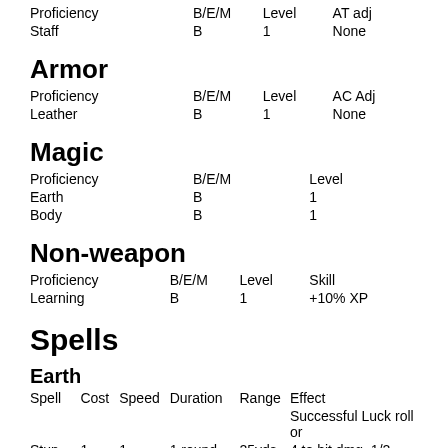| Proficiency | B/E/M | Level | AT adj |
| --- | --- | --- | --- |
| Staff | B | 1 | None |
Armor
| Proficiency | B/E/M | Level | AC Adj |
| --- | --- | --- | --- |
| Leather | B | 1 | None |
Magic
| Proficiency | B/E/M | Level |
| --- | --- | --- |
| Earth | B | 1 |
| Body | B | 1 |
Non-weapon
| Proficiency | B/E/M | Level | Skill |
| --- | --- | --- | --- |
| Learning | B | 1 | +10% XP |
Spells
Earth
| Spell | Cost | Speed | Duration | Range | Effect |
| --- | --- | --- | --- | --- | --- |
|  |  |  |  |  | Successful Luck roll or |
| Stun | 1 | 1 | 1 round | 25yds | 4 to hit dmg, 1/2 |
Proficiency and Spells tables